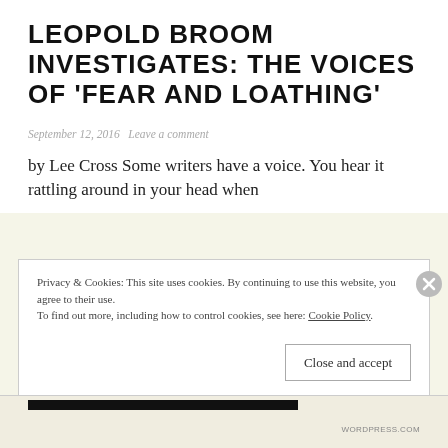LEOPOLD BROOM INVESTIGATES: THE VOICES OF 'FEAR AND LOATHING'
September 12, 2016  Leave a comment
by Lee Cross Some writers have a voice. You hear it rattling around in your head when
Privacy & Cookies: This site uses cookies. By continuing to use this website, you agree to their use.
To find out more, including how to control cookies, see here: Cookie Policy
Close and accept